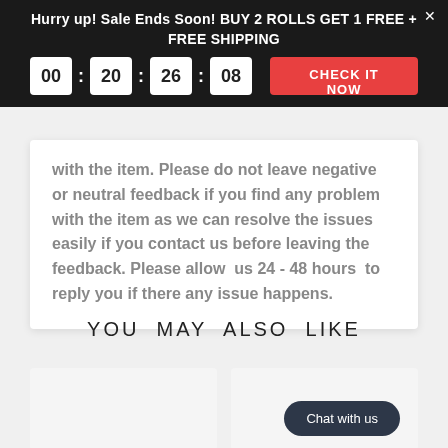Hurry up! Sale Ends Soon! BUY 2 ROLLS GET 1 FREE + FREE SHIPPING — 00 : 20 : 26 : 08 — CHECK IT NOW
with the item. Please do not leave negative or neutral feedback if you find any problem with the item as we can resolve the issues easily if you contact us before leaving the feedback. Please allow us 24 - 48 hours to reply you if there any issue happens.
YOU MAY ALSO LIKE
[Figure (other): Two product card placeholders side by side under 'YOU MAY ALSO LIKE'. The right card has a 'Chat with us' button overlay.]